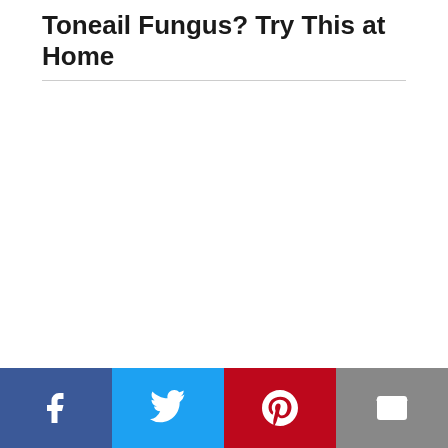Toneail Fungus? Try This at Home
[Figure (infographic): Social media share bar with Facebook, Twitter, Pinterest, and Email buttons at the bottom of the page]